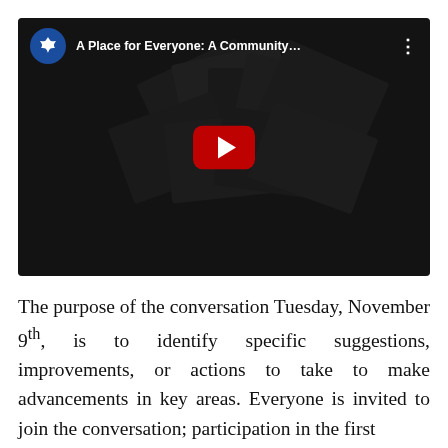[Figure (screenshot): YouTube video thumbnail showing 'A Place for Everyone: A Community...' with a blue circular channel icon featuring a white maple leaf, a play button in the center, and a dark overlay over community photos in the background.]
The purpose of the conversation Tuesday, November 9th, is to identify specific suggestions, improvements, or actions to take to make advancements in key areas. Everyone is invited to join the conversation; participation in the first